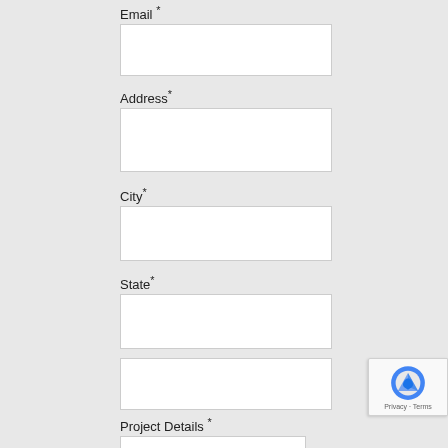Email *
[Figure (other): Empty text input field for Email]
Address*
[Figure (other): Empty text input field for Address]
City*
[Figure (other): Empty text input field for City]
State*
[Figure (other): Empty text input field for State]
Zip*
[Figure (other): Empty text input field for Zip]
Project Details *
[Figure (other): Partially visible empty text input field for Project Details]
[Figure (logo): Google reCAPTCHA badge with logo and Privacy - Terms text]